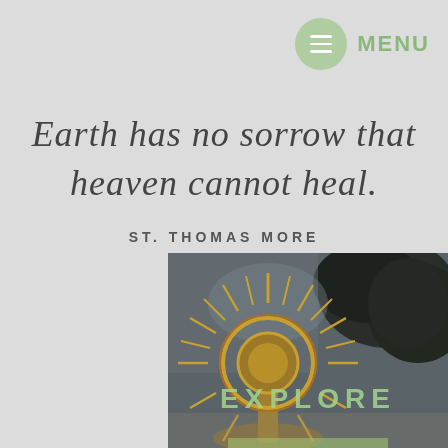[Figure (screenshot): Menu icon: green circle with three horizontal white lines (hamburger menu), with the word MENU in green text to its right, positioned top-right corner]
Earth has no sorrow that heaven cannot heal.
ST. THOMAS MORE
[Figure (photo): Photo of a golden monstrance (religious object) with ornate sunburst rays, partially visible, dark blurred trees in background. Text 'EXPLORE' in light green overlaid on the image.]